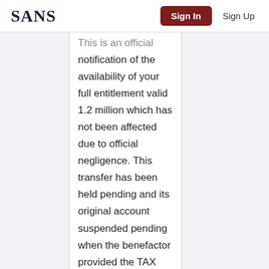SANS | Sign In | Sign Up
This is an official notification of the availability of your full entitlement valid 1.2 million which has not been affected due to official negligence. This transfer has been held pending and its original account suspended pending when the benefactor provided the TAX clearance document .but the